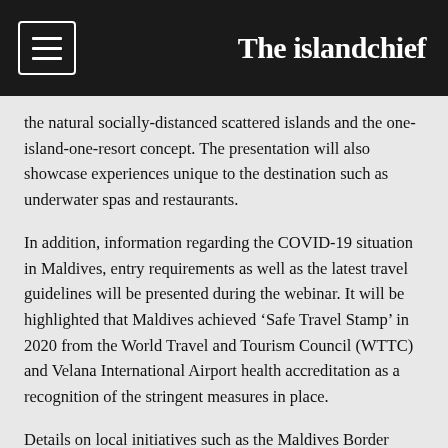The islandchief
the natural socially-distanced scattered islands and the one-island-one-resort concept. The presentation will also showcase experiences unique to the destination such as underwater spas and restaurants.
In addition, information regarding the COVID-19 situation in Maldives, entry requirements as well as the latest travel guidelines will be presented during the webinar. It will be highlighted that Maldives achieved ‘Safe Travel Stamp’ in 2020 from the World Travel and Tourism Council (WTTC) and Velana International Airport health accreditation as a recognition of the stringent measures in place.
Details on local initiatives such as the Maldives Border Miles program was briefly discussed in the webinar as well